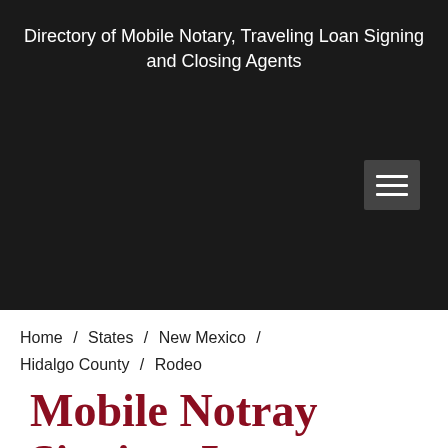Directory of Mobile Notary, Traveling Loan Signing and Closing Agents
Home / States / New Mexico / Hidalgo County / Rodeo
Mobile Notray Signing, Loans,